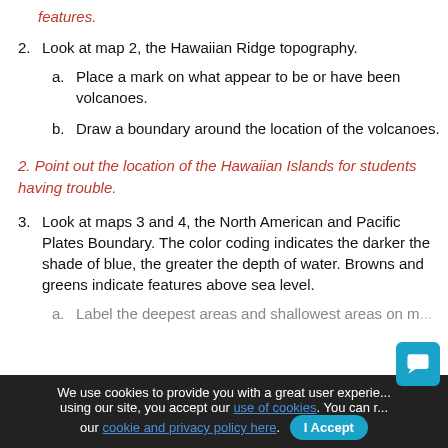features.
2. Look at map 2, the Hawaiian Ridge topography.
a. Place a mark on what appear to be or have been volcanoes.
b. Draw a boundary around the location of the volcanoes.
2. Point out the location of the Hawaiian Islands for students having trouble.
3. Look at maps 3 and 4, the North American and Pacific Plates Boundary. The color coding indicates the darker the shade of blue, the greater the depth of water. Browns and greens indicate features above sea level.
a. Label the deepest areas and shallowest areas on m...
b. Circle the features above sea level that are relevant to the activities.